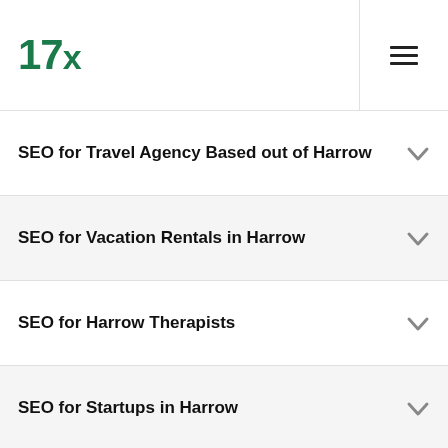17x
SEO for Travel Agency Based out of Harrow
SEO for Vacation Rentals in Harrow
SEO for Harrow Therapists
SEO for Startups in Harrow